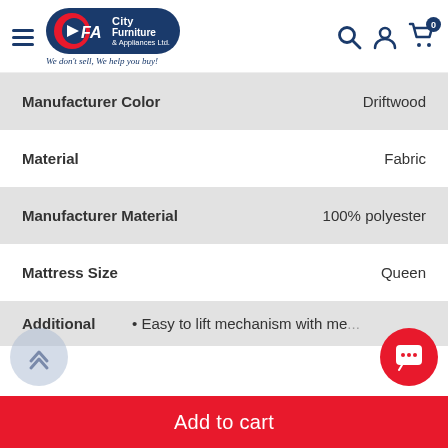City Furniture & Appliances Ltd. – We don't sell, We help you buy!
| Attribute | Value |
| --- | --- |
| Manufacturer Color | Driftwood |
| Material | Fabric |
| Manufacturer Material | 100% polyester |
| Mattress Size | Queen |
| Additional | • Easy to lift mechanism with me... |
Add to cart